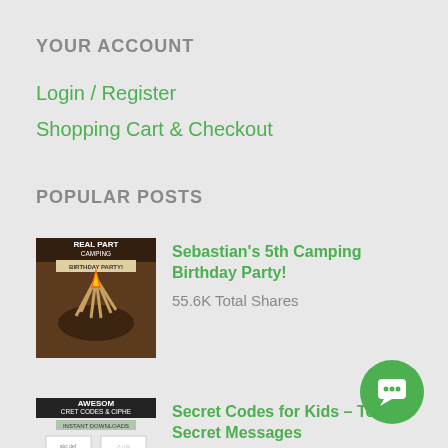YOUR ACCOUNT
Login / Register
Shopping Cart & Checkout
POPULAR POSTS
[Figure (photo): Thumbnail image for camping birthday party post showing a campfire cake decoration with text 'REAL PARTY CAMPING BIRTHDAY PARTY']
Sebastian's 5th Camping Birthday Party!
55.6K Total Shares
[Figure (photo): Thumbnail image for secret codes post showing 'AWESOME SECRET CODES & CIPHERS INSTANT DOWNLOADS' with paper code sheets]
Secret Codes for Kids – Top Secret Messages
52.3K Total Shares